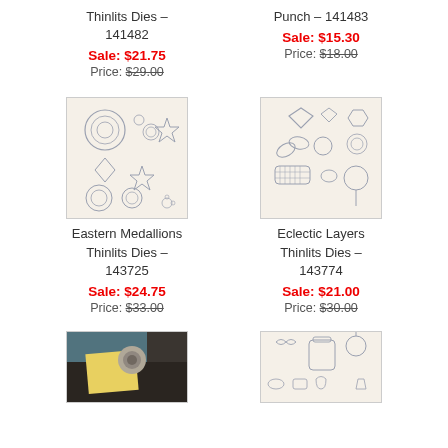Thinlits Dies – 141482
Sale: $21.75
Price: $29.00
Punch – 141483
Sale: $15.30
Price: $18.00
[Figure (illustration): Eastern Medallions Thinlits Dies product image showing circular and star medallion die cuts on cream background]
Eastern Medallions Thinlits Dies – 143725
Sale: $24.75
Price: $33.00
[Figure (illustration): Eclectic Layers Thinlits Dies product image showing various shapes including diamond, hexagon, leaves, pineapple, balloon on cream background]
Eclectic Layers Thinlits Dies – 143774
Sale: $21.00
Price: $30.00
[Figure (photo): Partial photo of crafting tool on dark background with yellow paper]
[Figure (illustration): Partial image of stamp set with jar, bow, and decorative elements on cream background]